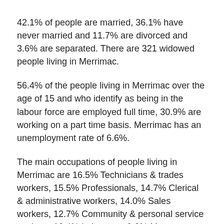42.1% of people are married, 36.1% have never married and 11.7% are divorced and 3.6% are separated. There are 321 widowed people living in Merrimac.
56.4% of the people living in Merrimac over the age of 15 and who identify as being in the labour force are employed full time, 30.9% are working on a part time basis. Merrimac has an unemployment rate of 6.6%.
The main occupations of people living in Merrimac are 16.5% Technicians & trades workers, 15.5% Professionals, 14.7% Clerical & administrative workers, 14.0% Sales workers, 12.7% Community & personal service workers, 10.4% Labourers, 9.3% Managers, 5.5% Machinery operators & drivers, 1.4% Occupation inadequately described/ Not stated.
The main industries people from Merrimac work in are